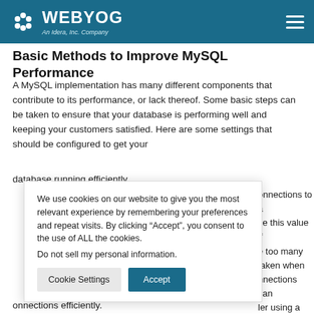WEBYOG An Idera, Inc. Company
Basic Methods to Improve MySQL Performance
A MySQL implementation has many different components that contribute to its performance, or lack thereof. Some basic steps can be taken to ensure that your database is performing well and keeping your customers satisfied. Here are some settings that should be configured to get your database running efficiently.
We use cookies on our website to give you the most relevant experience by remembering your preferences and repeat visits. By clicking “Accept”, you consent to the use of ALL the cookies.
Do not sell my personal information.
connections to a se this value if e too many taken when nnections can ler using a thread pool at